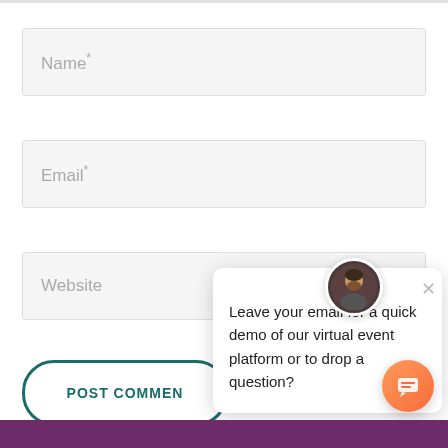[Figure (screenshot): Web form with Name, Email, Website input fields and a POST COMMENT button, overlaid by a chat widget popup with avatar, close button, and message asking for email for a quick demo of virtual event platform]
Name*
Email*
Website
POST COMMENT
Leave your email for a quick demo of our virtual event platform or to drop a question?